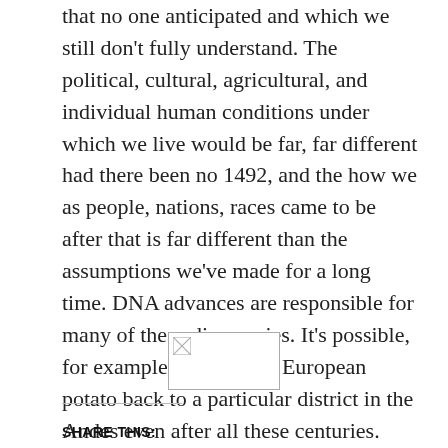that no one anticipated and which we still don't fully understand. The political, cultural, agricultural, and individual human conditions under which we live would be far, far different had there been no 1492, and the how we as people, nations, races came to be after that is far different than the assumptions we've made for a long time. DNA advances are responsible for many of these discoveries. It's possible, for example, to trace the European potato back to a particular district in the Andes even after all these centuries. However, the questions multiply far faster than the answers. I'm sure there's more to come, but I thank Charles Mann for getting the conversation started.
[Figure (other): Small broken/loading image placeholder]
SHARE THIS: